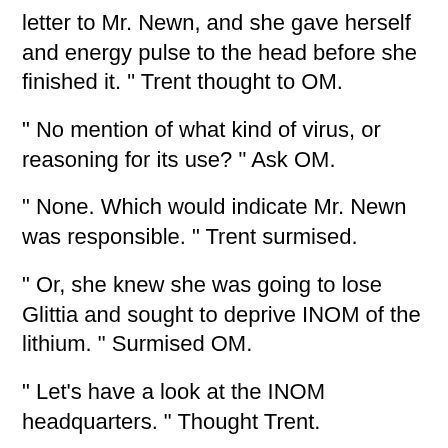letter to Mr. Newn, and she gave herself and energy pulse to the head before she finished it. " Trent thought to OM.
" No mention of what kind of virus, or reasoning for its use? "  Ask OM.
" None.  Which would indicate Mr. Newn was responsible. "  Trent surmised.
" Or, she knew she was going to lose Glittia and sought to deprive INOM of the lithium. " Surmised OM.
" Let's have a look at the INOM headquarters. " Thought Trent.
Ship stopped in front of the INOM headquarters. There were bodies here and there just like the VICLA offices.